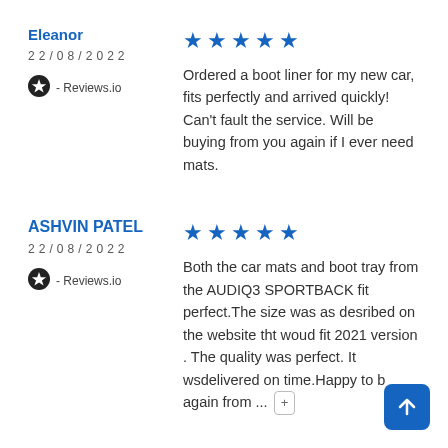Eleanor
22/08/2022
[Figure (illustration): Reviews.io star icon badge]
- Reviews.io
[Figure (other): 5 blue stars rating]
Ordered a boot liner for my new car, fits perfectly and arrived quickly! Can't fault the service. Will be buying from you again if I ever need mats.
ASHVIN PATEL
22/08/2022
[Figure (illustration): Reviews.io star icon badge]
- Reviews.io
[Figure (other): 5 blue stars rating]
Both the car mats and boot tray from the AUDIQ3 SPORTBACK fit perfect.The size was as desribed on the website tht woud fit 2021 version . The quality was perfect. It wsdelivered on time.Happy to b again from ...